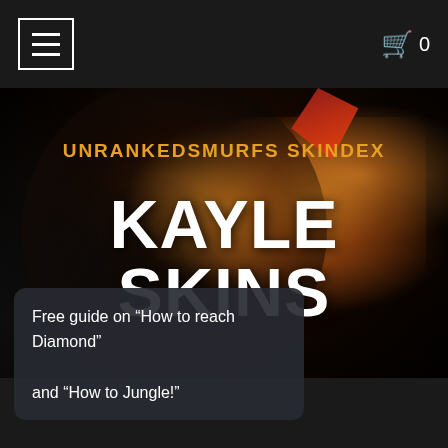≡  🛒 0
UNRANKEDSMURFS SKINDEX
KAYLE SKINS
[Figure (illustration): Fantasy game hero art showing a winged armored character (Kayle from League of Legends) with glowing orange fire elements, dark sphere/planet in background, dark atmospheric scene]
Free guide on “How to reach Diamond” and “How to Jungle!”